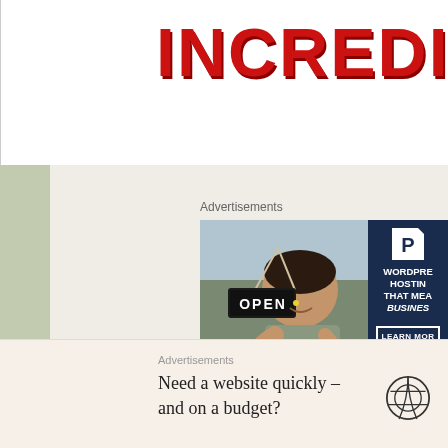INCREDIBLE
Advertisements
[Figure (photo): Advertisement banner: left side shows a smiling woman holding an OPEN sign in a shop window; right side is a dark navy panel with WordPress hosting advertisement reading 'WORDPRESS HOSTING THAT MEANS BUSINESS' with a P logo and LEARN MORE button]
Advertisements
Need a website quickly – and on a budget?